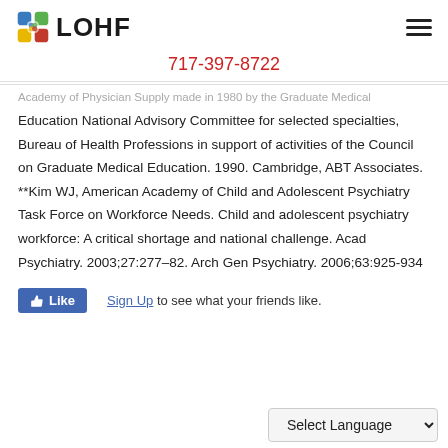LOHF | 717-397-8722
Academy of Physician Supply made in 1980 by the Graduate Medical Education National Advisory Committee for selected specialties, Bureau of Health Professions in support of activities of the Council on Graduate Medical Education. 1990. Cambridge, ABT Associates. **Kim WJ, American Academy of Child and Adolescent Psychiatry Task Force on Workforce Needs. Child and adolescent psychiatry workforce: A critical shortage and national challenge. Acad Psychiatry. 2003;27:277–82. Arch Gen Psychiatry. 2006;63:925-934